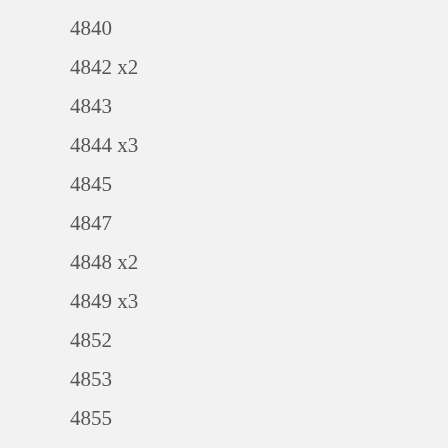4840
4842 x2
4843
4844 x3
4845
4847
4848 x2
4849 x3
4852
4853
4855